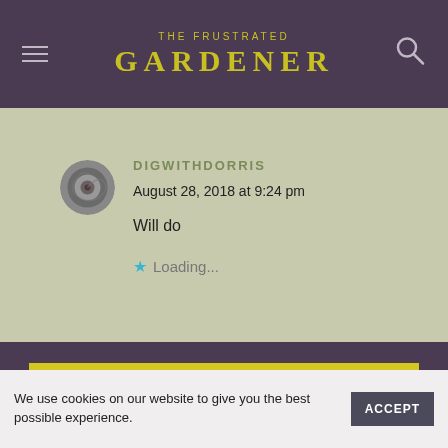THE FRUSTRATED GARDENER
DIGWITHDORRIS
August 28, 2018 at 9:24 pm
Will do
★ Loading...
SHOP AT DAN COOPER GARDEN
We use cookies on our website to give you the best possible experience.